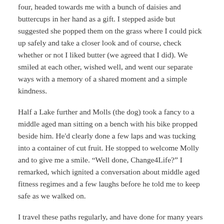four, headed towards me with a bunch of daisies and buttercups in her hand as a gift. I stepped aside but suggested she popped them on the grass where I could pick up safely and take a closer look and of course, check whether or not I liked butter (we agreed that I did). We smiled at each other, wished well, and went our separate ways with a memory of a shared moment and a simple kindness.
Half a Lake further and Molls (the dog) took a fancy to a middle aged man sitting on a bench with his bike propped beside him. He'd clearly done a few laps and was tucking into a container of cut fruit. He stopped to welcome Molly and to give me a smile. “Well done, Change4Life?” I remarked, which ignited a conversation about middle aged fitness regimes and a few laughs before he told me to keep safe as we walked on.
I travel these paths regularly, and have done for many years now, but right now it’s different. Deprived of simple